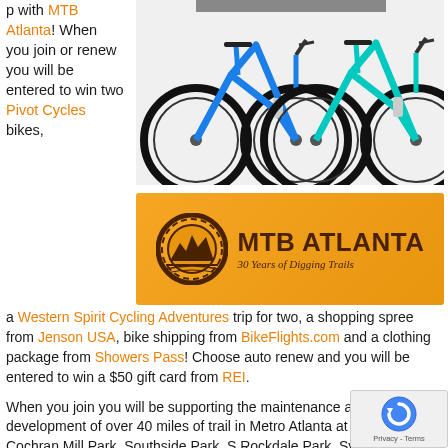p with MTB Atlanta! When you join or renew you will be entered to win two Pivot Cycles bikes,
[Figure (photo): Two Pivot Cycles mountain bikes, one blue and one teal/cyan, displayed side by side]
[Figure (logo): MTB Atlanta banner with orange background, gear/wheel logo, text 'MTB ATLANTA' and tagline '30 Years of Digging Trails']
a Western Spirit Cycling Adventures trip for two, a shopping spree from Jenson USA, bike shipping from BikeFlights.com and a clothing package from Showers Pass! Choose auto renew and you will be entered to win a $50 gift card from REI.
When you join you will be supporting the maintenance and development of over 40 miles of trail in Metro Atlanta at Sope Creek, Cochran Mill Park, Southside Park, S Rockdale Park, Sykes Park, Brown's Mill Historic Site, the first hard surfaced public pump track inside of at Sykes Park in East Point.